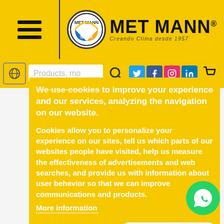[Figure (logo): Met Mann logo with circular emblem and brand name, tagline 'Creando Clima desde 1957']
We use cookies to improve your experience and our services, analyzing the navigation on our website.
Cookies allow you to personalize your experience on our sites, tell us which parts of our websites people have visited, help us measure the effectiveness of advertisements and web searches, and provide us with information about user behavior so that we can improve communications and products.
More information
I accept Cookies
Customize cookies
MetaDraiss Manlle
ense S.A.
Barcelona